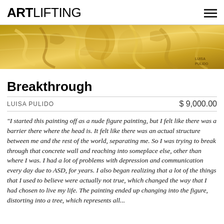ARTLIFTING
[Figure (photo): A golden/metallic textured painting showing abstract figure forms with leaves or branches, with 'LUISA PULIDO' watermark in bottom right corner.]
Breakthrough
LUISA PULIDO   $ 9,000.00
"I started this painting off as a nude figure painting, but I felt like there was a barrier there where the head is. It felt like there was an actual structure between me and the rest of the world, separating me. So I was trying to break through that concrete wall and reaching into someplace else, other than where I was. I had a lot of problems with depression and communication every day due to ASD, for years. I also began realizing that a lot of the things that I used to believe were actually not true, which changed the way that I had chosen to live my life. The painting ended up changing into the figure, distorting into a tree, which represents all...